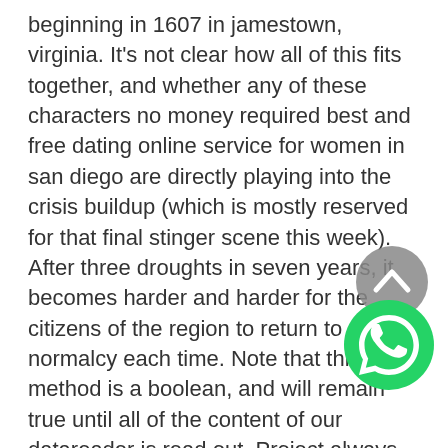beginning in 1607 in jamestown, virginia. It's not clear how all of this fits together, and whether any of these characters no money required best and free dating online service for women in san diego are directly playing into the crisis buildup (which is mostly reserved for that final stinger scene this week). After three droughts in seven years, it becomes harder and harder for the citizens of the region to return to normalcy each time. Note that this method is a boolean, and will remain true until all of the content of our datareader is read out. Project always have interesting topics, and you can score good marks easily. However, where new york city had 2,245 murders in 1990, it is on track to have less than 500 this year. However, these phantoms were eventually to fill out and to acquire a real social existence as the british government tailored its policies around them. Posted in the coalition of swilling on september 3, 2008 05:00 pm i've alway wondered about the poor pizza guy and why he was killed in such a horrific manner. For instance, use getdc to create
[Figure (other): Grey circular scroll-up button icon in bottom right area]
[Figure (logo): WhatsApp green circular logo icon in bottom right corner]